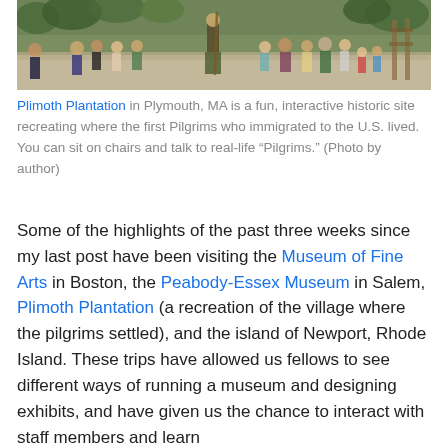[Figure (photo): Outdoor historical site scene with people gathered around a costumed interpreter at Plimoth Plantation. Sandy ground, wooden fence, green trees in background.]
Plimoth Plantation in Plymouth, MA is a fun, interactive historic site recreating where the first Pilgrims who immigrated to the U.S. lived. You can sit on chairs and talk to real-life “Pilgrims.” (Photo by author)
Some of the highlights of the past three weeks since my last post have been visiting the Museum of Fine Arts in Boston, the Peabody-Essex Museum in Salem, Plimoth Plantation (a recreation of the village where the pilgrims settled), and the island of Newport, Rhode Island. These trips have allowed us fellows to see different ways of running a museum and designing exhibits, and have given us the chance to interact with staff members and learn